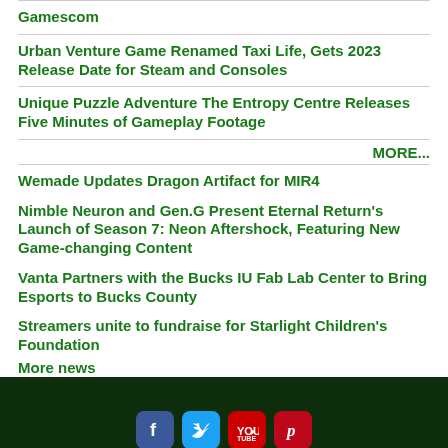Gamescom
Urban Venture Game Renamed Taxi Life, Gets 2023 Release Date for Steam and Consoles
Unique Puzzle Adventure The Entropy Centre Releases Five Minutes of Gameplay Footage
MORE...
Wemade Updates Dragon Artifact for MIR4
Nimble Neuron and Gen.G Present Eternal Return's Launch of Season 7: Neon Aftershock, Featuring New Game-changing Content
Vanta Partners with the Bucks IU Fab Lab Center to Bring Esports to Bucks County
Streamers unite to fundraise for Starlight Children's Foundation
More news
[Figure (infographic): Dark green footer with social media icons: Facebook (blue), Twitter (blue), YouTube (red), Pinterest (red)]